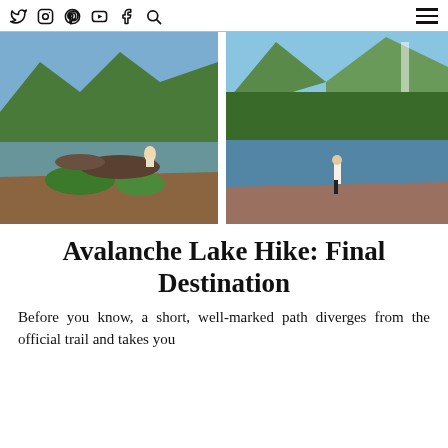Social media icons: Twitter, Instagram, Pinterest, YouTube, Facebook, Search | Hamburger menu
[Figure (photo): Person sitting on rocks by a mountain lake with green vegetation and forest-covered mountains in background]
[Figure (photo): Person standing in shallow water of a mountain lake with forested mountains and a waterfall in the background]
Avalanche Lake Hike: Final Destination
Before you know, a short, well-marked path diverges from the official trail and takes you down closer to the lakeshore.